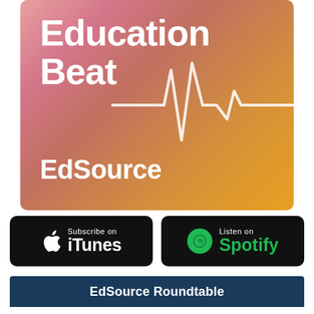[Figure (illustration): Education Beat podcast cover art with gradient background (pink to orange/yellow), large white bold text reading 'Education Beat', a white heartbeat/ECG line graphic, and 'EdSource' branding in white at the bottom left.]
[Figure (logo): Subscribe on iTunes badge — black rounded rectangle with Apple logo and text 'Subscribe on iTunes' in white.]
[Figure (logo): Listen on Spotify badge — black rounded rectangle with green Spotify logo circle and green 'Spotify' text with white 'Listen on' above.]
EdSource Roundtable